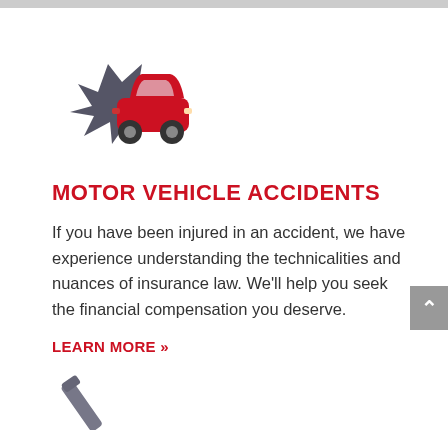[Figure (illustration): Red car crash icon with dark grey impact/spark shape behind it, representing motor vehicle accidents]
MOTOR VEHICLE ACCIDENTS
If you have been injured in an accident, we have experience understanding the technicalities and nuances of insurance law. We'll help you seek the financial compensation you deserve.
LEARN MORE »
[Figure (illustration): Partial grey gavel icon visible at bottom of page]